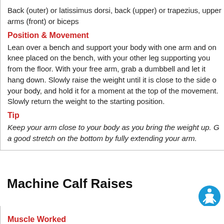Back (outer) or latissimus dorsi, back (upper) or trapezius, upper arms (front) or biceps
Position & Movement
Lean over a bench and support your body with one arm and one knee placed on the bench, with your other leg supporting you from the floor. With your free arm, grab a dumbbell and let it hang down. Slowly raise the weight until it is close to the side of your body, and hold it for a moment at the top of the movement. Slowly return the weight to the starting position.
Tip
Keep your arm close to your body as you bring the weight up. Get a good stretch on the bottom by fully extending your arm.
Machine Calf Raises
Muscle Worked